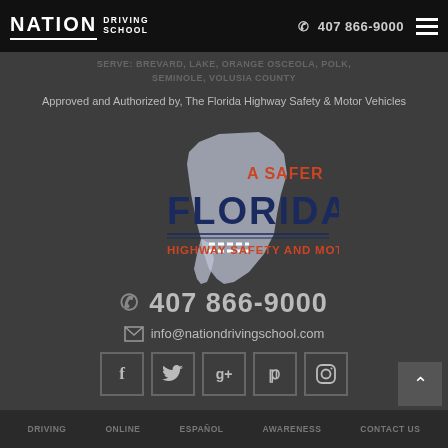Nation Driving School | ✆ 407 866-9000
SERVE: BREVARD, LAKE, ORANGE OSCEOLA, POLK, SEMINOLE, VOLUSIA COUNTY
Approved and Authorized by, The Florida Highway Safety & Motor Vehicles
[Figure (logo): Florida Highway Safety and Motor Vehicles logo — 'A SAFER FLORIDA' with Florida state silhouette, dark blue text, orange accent text for 'A SAFER' and 'HIGHWAY SAFETY AND MOTOR VEHICLES']
407 866-9000
info@nationdrivingschool.com
[Figure (infographic): Social media icons: Facebook, Twitter, Google+, Pinterest, Instagram — square outline buttons]
DRIVING  ONLINE  ESPAÑOL  AWARENESS  CONTACT US